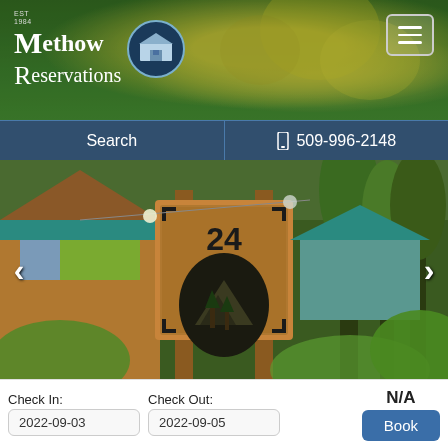[Figure (screenshot): Methow Reservations website header with logo showing 'Methow Reservations' text with a house icon in a blue circle, sunflower background, and hamburger menu button]
[Figure (screenshot): Navigation bar with 'Search' on the left and phone number '509-996-2148' on the right]
[Figure (photo): Photo of a log cabin with a wooden sign post showing number '24' and a mountain/nature scene metal cutout, surrounded by trees and greenery]
Check In:
Check Out:
N/A
2022-09-03
2022-09-05
Book